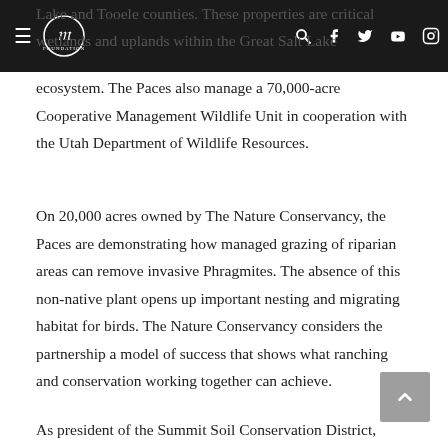Lake and Tooele counties. These properties are critical wetlands and uplands within the Great Salt Lake ecosystem. The Paces also manage a 70,000-acre Cooperative Management Wildlife Unit in cooperation with the Utah Department of Wildlife Resources.
On 20,000 acres owned by The Nature Conservancy, the Paces are demonstrating how managed grazing of riparian areas can remove invasive Phragmites. The absence of this non-native plant opens up important nesting and migrating habitat for birds. The Nature Conservancy considers the partnership a model of success that shows what ranching and conservation working together can achieve.
As president of the Summit Soil Conservation District, Colby often shares how his no-till cropping system has